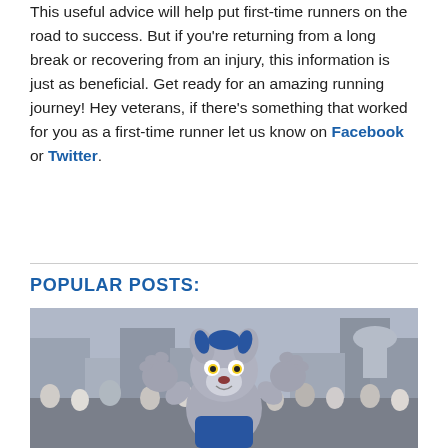This useful advice will help put first-time runners on the road to success. But if you're returning from a long break or recovering from an injury, this information is just as beneficial. Get ready for an amazing running journey! Hey veterans, if there's something that worked for you as a first-time runner let us know on Facebook or Twitter.
POPULAR POSTS:
[Figure (photo): Photo of a running mascot costume (large blue and grey cartoon dog/wolf character with arms raised) in front of a crowd of marathon runners in an urban street setting with buildings in the background.]